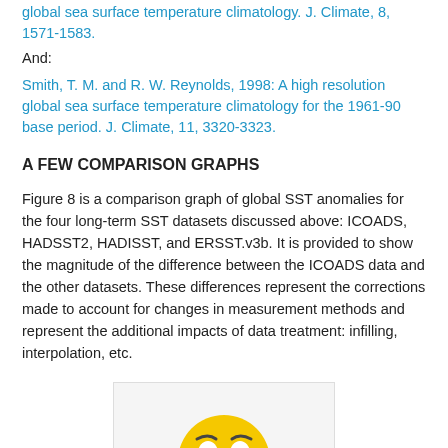global sea surface temperature climatology. J. Climate, 8, 1571-1583.
And:
Smith, T. M. and R. W. Reynolds, 1998: A high resolution global sea surface temperature climatology for the 1961-90 base period. J. Climate, 11, 3320-3323.
A FEW COMPARISON GRAPHS
Figure 8 is a comparison graph of global SST anomalies for the four long-term SST datasets discussed above: ICOADS, HADSST2, HADISST, and ERSST.v3b. It is provided to show the magnitude of the difference between the ICOADS data and the other datasets. These differences represent the corrections made to account for changes in measurement methods and represent the additional impacts of data treatment: infilling, interpolation, etc.
[Figure (illustration): A confused or worried emoji face (yellow round face with furrowed brows, orange ears, and blue shirt) shown inside a light gray bordered box, representing a placeholder or missing figure image.]